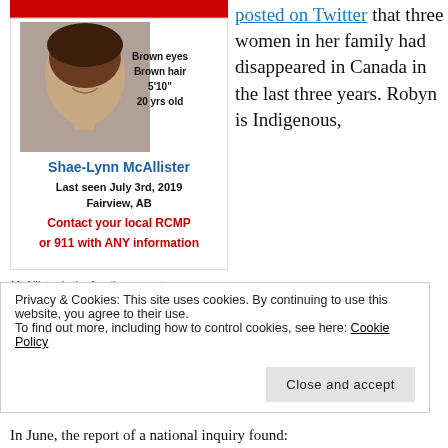[Figure (other): Missing person flyer for Shae-Lynn McAllister. Red banner at top, photo of young woman, text: Brown eyes, Brown hair, 5'10", 20 yrs old. Name in blue: Shae-Lynn McAllister. Last seen July 3rd, 2019, Fairview, AB. Contact your local RCMP or 911 with ANY information.]
McAllister is the fourth women to go missing from Robyn Lawson's family in Canada since
posted on Twitter that three women in her family had disappeared in Canada in the last three years. Robyn is Indigenous,
Privacy & Cookies: This site uses cookies. By continuing to use this website, you agree to their use.
To find out more, including how to control cookies, see here: Cookie Policy
Close and accept
In June, the report of a national inquiry found: